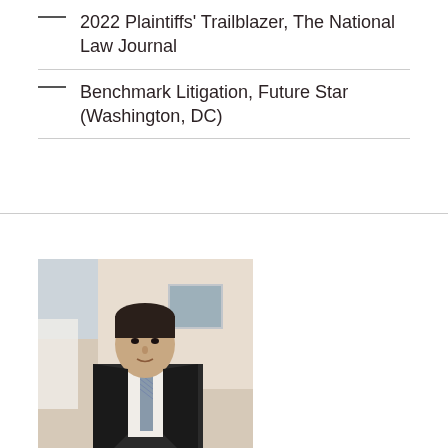2022 Plaintiffs' Trailblazer, The National Law Journal
Benchmark Litigation, Future Star (Washington, DC)
[Figure (photo): Professional headshot of a man in a dark suit with a striped tie, seated in an office environment with soft background lighting]